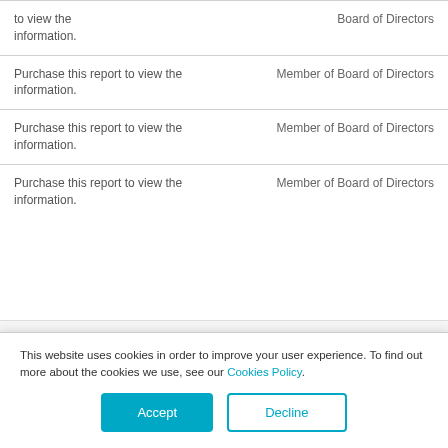|  |  |
| --- | --- |
| Purchase this report to view the information. | Board of Directors |
| Purchase this report to view the information. | Member of Board of Directors |
| Purchase this report to view the information. | Member of Board of Directors |
| Purchase this report to view the information. | Member of Board of Directors |
OWNERSHIP DETAILS
This website uses cookies in order to improve your user experience. To find out more about the cookies we use, see our Cookies Policy.